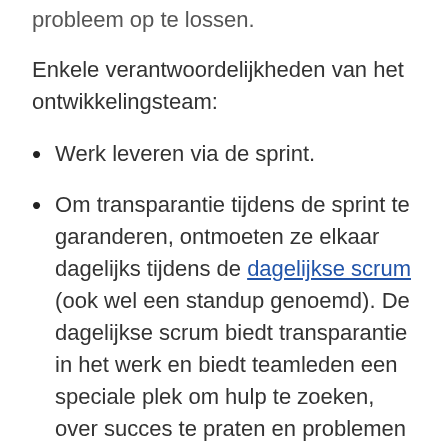probleem op te lossen.
Enkele verantwoordelijkheden van het ontwikkelingsteam:
Werk leveren via de sprint.
Om transparantie tijdens de sprint te garanderen, ontmoeten ze elkaar dagelijks tijdens de dagelijkse scrum (ook wel een standup genoemd). De dagelijkse scrum biedt transparantie in het werk en biedt teamleden een speciale plek om hulp te zoeken, over succes te praten en problemen en blockers aan te geven. De scrummaster zou de dagelijkse scrum kunnen